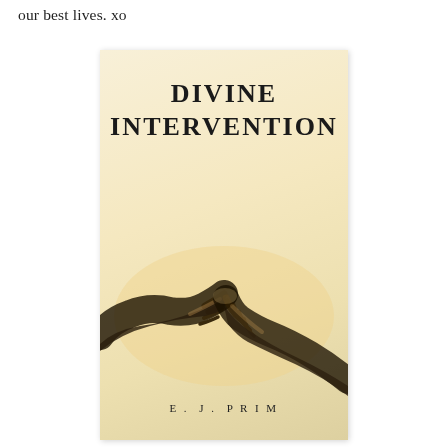our best lives. xo
[Figure (illustration): Book cover for 'Divine Intervention' by E. J. Prim. Cream/warm beige background with two dark silhouetted hands nearly touching (fingertip to fingertip), reminiscent of the Sistine Chapel motif. Title 'DIVINE INTERVENTION' in large serif bold letters at top center. Author name 'E. J. PRIM' in small spaced serif letters at bottom center.]